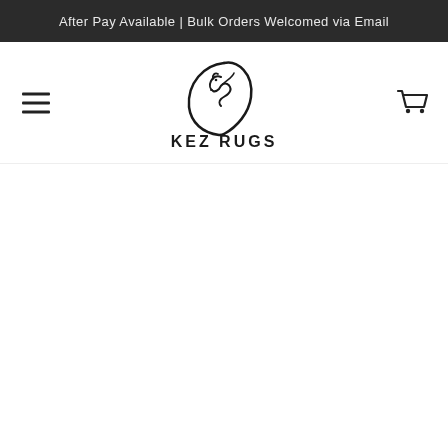After Pay Available | Bulk Orders Welcomed via Email
[Figure (logo): KEZ RUGS logo with stylized horse head above the text KEZ RUGS]